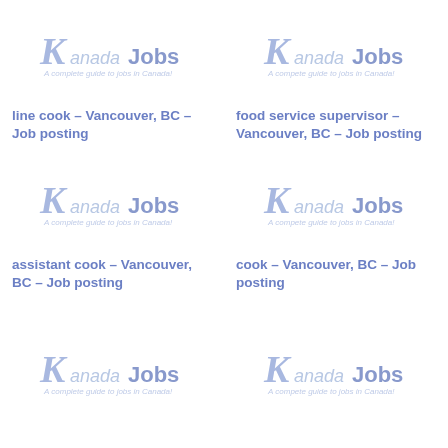[Figure (logo): KanadaJobs logo - A complete guide to jobs in Canada!]
line cook – Vancouver, BC – Job posting
[Figure (logo): KanadaJobs logo - A complete guide to jobs in Canada!]
food service supervisor – Vancouver, BC – Job posting
[Figure (logo): KanadaJobs logo - A complete guide to jobs in Canada!]
assistant cook – Vancouver, BC – Job posting
[Figure (logo): KanadaJobs logo - A complete guide to jobs in Canada!]
cook – Vancouver, BC – Job posting
[Figure (logo): KanadaJobs logo - A complete guide to jobs in Canada!]
[Figure (logo): KanadaJobs logo - A complete guide to jobs in Canada!]